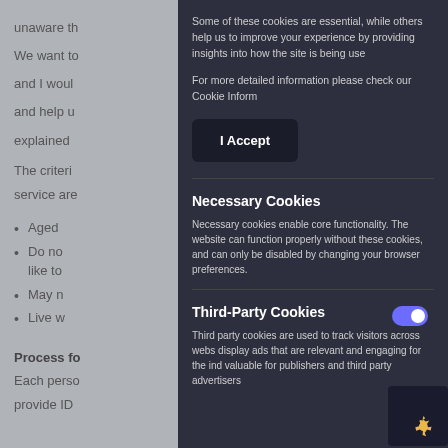unaware th...
We want to...
and I woul...
and help u...
explained ...
The criteri...
service are...
Aged ...
Do no... like to...
May n...
Live w...
Process fo...
Each perso... provide ID...
Some of these cookies are essential, while others help us to improve your experience by providing insights into how the site is being used.
For more detailed information please check our Cookie Inform...
I Accept
Necessary Cookies
Necessary cookies enable core functionality. The website cannot function properly without these cookies, and can only be disabled by changing your browser preferences.
Third-Party Cookies
Third party cookies are used to track visitors across websites. The intention is to display ads that are relevant and engaging for the individual user and thereby more valuable for publishers and third party advertisers.